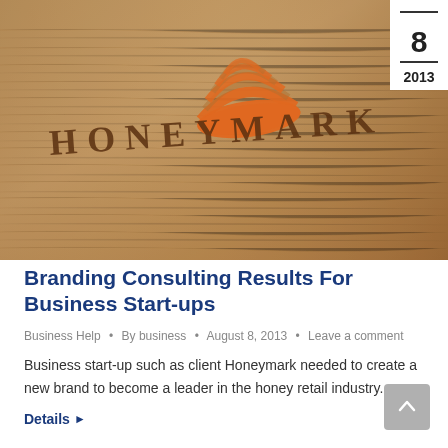[Figure (photo): Photo of a wooden surface with the Honeymark logo engraved — a stylized honeycomb dome icon in orange above the text HONEYMARK in dark brown letters. A white date badge in the top-right corner shows '8' and '2013'.]
Branding Consulting Results For Business Start-ups
Business Help • By business • August 8, 2013 • Leave a comment
Business start-up such as client Honeymark needed to create a new brand to become a leader in the honey retail industry.
Details ▶